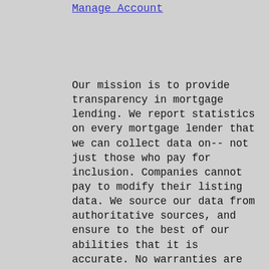Manage Account
Our mission is to provide transparency in mortgage lending. We report statistics on every mortgage lender that we can collect data on-- not just those who pay for inclusion. Companies cannot pay to modify their listing data. We source our data from authoritative sources, and ensure to the best of our abilities that it is accurate. No warranties are expressed or implied